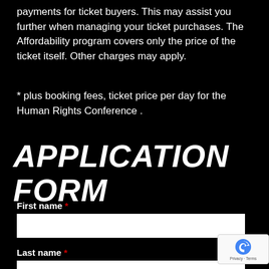payments for ticket buyers. This may assist you further when managing your ticket purchases. The Affordability program covers only the price of the ticket itself. Other charges may apply.
* plus booking fees, ticket price per day for the Human Rights Conference .
APPLICATION FORM
First name *
Last name *